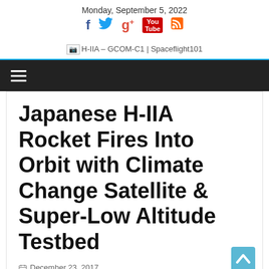Monday, September 5, 2022
[Figure (logo): Social media icons: Facebook, Twitter, Google+, YouTube, RSS]
[Figure (logo): H-IIA – GCOM-C1 | Spaceflight101 site logo with broken image placeholder]
Japanese H-IIA Rocket Fires Into Orbit with Climate Change Satellite & Super-Low Altitude Testbed
December 23, 2017